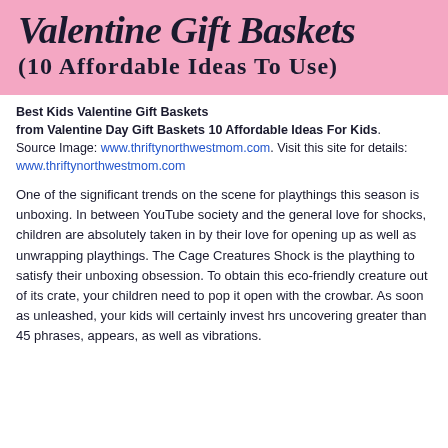Valentine Gift Baskets (10 Affordable Ideas To Use)
Best Kids Valentine Gift Baskets from Valentine Day Gift Baskets 10 Affordable Ideas For Kids. Source Image: www.thriftynorthwestmom.com. Visit this site for details: www.thriftynorthwestmom.com
One of the significant trends on the scene for playthings this season is unboxing. In between YouTube society and the general love for shocks, children are absolutely taken in by their love for opening up as well as unwrapping playthings. The Cage Creatures Shock is the plaything to satisfy their unboxing obsession. To obtain this eco-friendly creature out of its crate, your children need to pop it open with the crowbar. As soon as unleashed, your kids will certainly invest hrs uncovering greater than 45 phrases, appears, as well as vibrations.